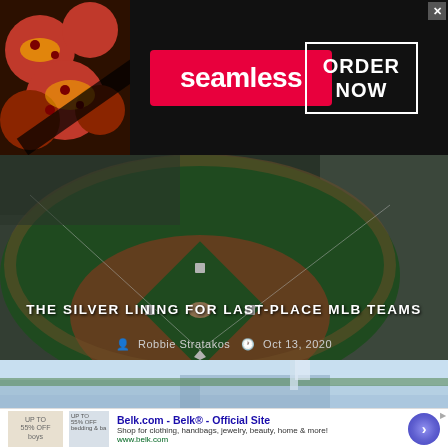[Figure (screenshot): Seamless food delivery advertisement banner with pizza images on left, red Seamless logo in center, and 'ORDER NOW' button in dark box on right with X close button]
[Figure (photo): Aerial view of a baseball stadium field from elevated seats, showing the diamond infield and outfield. Article title overlay reads 'THE SILVER LINING FOR LAST-PLACE MLB TEAMS' with author Robbie Stratakos and date Oct 13, 2020]
[Figure (photo): Washed-out bright blue sky photo of a baseball stadium exterior with green upper deck structure visible]
[Figure (screenshot): Belk.com advertisement showing 'Belk.com - Belk® - Official Site' headline, description 'Shop for clothing, handbags, jewelry, beauty, home & more!' with www.belk.com URL and a blue arrow navigation button on the right]